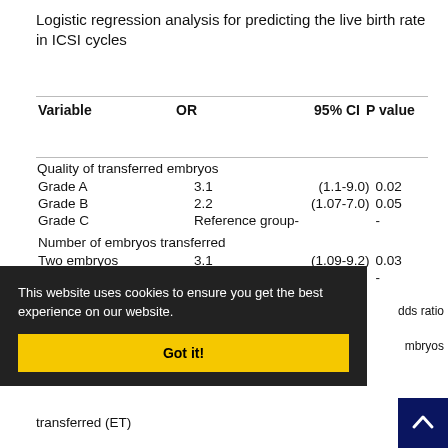Logistic regression analysis for predicting the live birth rate in ICSI cycles
| Variable | OR | 95% CI | P value |
| --- | --- | --- | --- |
| Quality of transferred embryos |  |  |  |
| Grade A | 3.1 | (1.1-9.0) | 0.02 |
| Grade B | 2.2 | (1.07-7.0) | 0.05 |
| Grade C | Reference group- | - |  |
| Number of embryos transferred |  |  |  |
| Two embryos | 3.1 | (1.09-9.2) | 0.03 |
| Three embryos | Reference group- | - |  |
This website uses cookies to ensure you get the best experience on our website.
...dds ratio
...mbryos
transferred (ET)